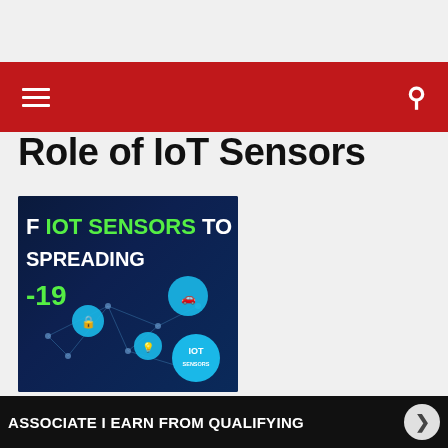Navigation bar with hamburger menu and search icon
Role of IoT Sensors
[Figure (illustration): IoT Sensors article thumbnail image with dark blue background showing network nodes, text reading 'OF IOT SENSORS TO SPREADING -19' and a cyan IOT SENSORS badge]
ASSOCIATE I EARN FROM QUALIFYING